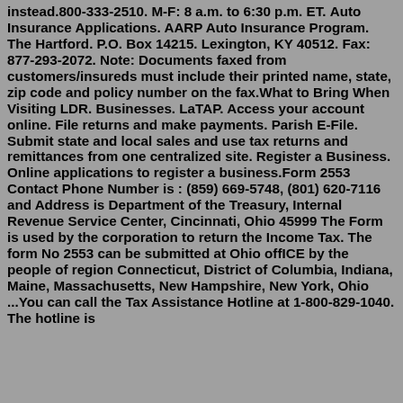instead.800-333-2510. M-F: 8 a.m. to 6:30 p.m. ET. Auto Insurance Applications. AARP Auto Insurance Program. The Hartford. P.O. Box 14215. Lexington, KY 40512. Fax: 877-293-2072. Note: Documents faxed from customers/insureds must include their printed name, state, zip code and policy number on the fax.What to Bring When Visiting LDR. Businesses. LaTAP. Access your account online. File returns and make payments. Parish E-File. Submit state and local sales and use tax returns and remittances from one centralized site. Register a Business. Online applications to register a business.Form 2553 Contact Phone Number is : (859) 669-5748, (801) 620-7116 and Address is Department of the Treasury, Internal Revenue Service Center, Cincinnati, Ohio 45999 The Form is used by the corporation to return the Income Tax. The form No 2553 can be submitted at Ohio offICE by the people of region Connecticut, District of Columbia, Indiana, Maine, Massachusetts, New Hampshire, New York, Ohio ...You can call the Tax Assistance Hotline at 1-800-829-1040. The hotline is